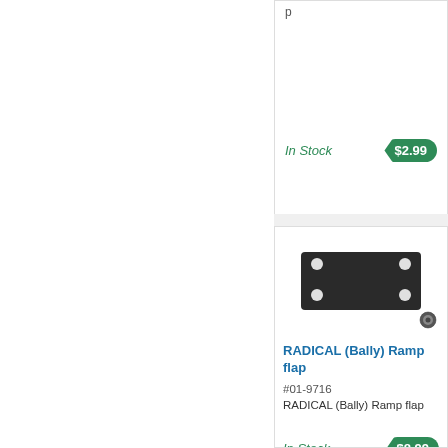In Stock
$2.99
[Figure (photo): RADICAL (Bally) Ramp flap - dark metal rectangular plate with four corner holes]
RADICAL (Bally) Ramp flap
#01-9716
RADICAL (Bally) Ramp flap
In Stock
$8.99